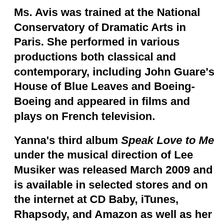Ms. Avis was trained at the National Conservatory of Dramatic Arts in Paris. She performed in various productions both classical and contemporary, including John Guare's House of Blue Leaves and Boeing-Boeing and appeared in films and plays on French television.
Yanna's third album Speak Love to Me under the musical direction of Lee Musiker was released March 2009 and is available in selected stores and on the internet at CD Baby, iTunes, Rhapsody, and Amazon as well as her own website at www.yannaavis.com.
Yanna Avis plays 54 Below (254 West 54th Street) on Thursday,June 18th at 9:30 PM. Cover charge starts at $25 and there is a $25 food and beverage minimum. Tickets and